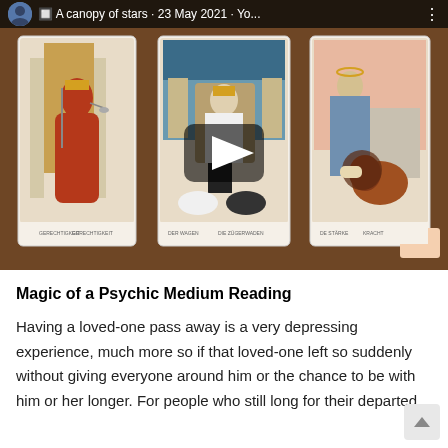[Figure (screenshot): A video thumbnail showing three tarot cards laid out on a wooden table. Left card shows a seated queen figure (Justice/Gerechtigkeit). Center card shows a seated figure with sphinxes (The Chariot/Der Wagen). Right card shows a figure with a lion (Strength/De Stärke). A play button overlay is visible in the center. At the top is a bar with an avatar, the text 'A canopy of stars · 23 May 2021 · Yo...' and a three-dot menu.]
Magic of a Psychic Medium Reading
Having a loved-one pass away is a very depressing experience, much more so if that loved-one left so suddenly without giving everyone around him or the chance to be with him or her longer. For people who still long for their departed